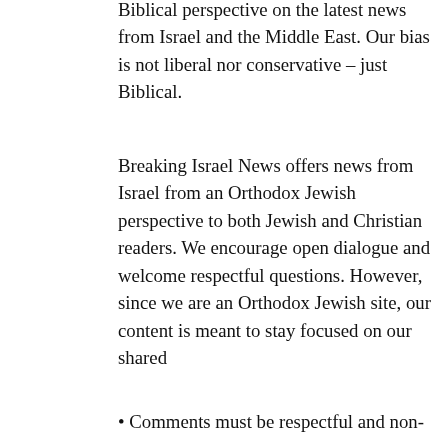Biblical perspective on the latest news from Israel and the Middle East. Our bias is not liberal nor conservative – just Biblical.
Breaking Israel News offers news from Israel from an Orthodox Jewish perspective to both Jewish and Christian readers. We encourage open dialogue and welcome respectful questions. However, since we are an Orthodox Jewish site, our content is meant to stay focused on our shared
Privacy & Cookies: This site uses cookies. By continuing to use this website, you agree to their use.
To find out more, including how to control cookies, see here: Cookie Policy
Close and accept
• Comments must be respectful and non-